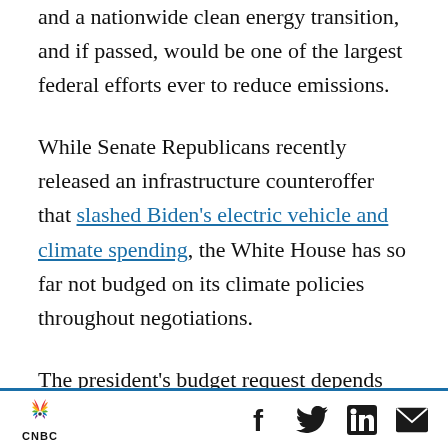and a nationwide clean energy transition, and if passed, would be one of the largest federal efforts ever to reduce emissions.
While Senate Republicans recently released an infrastructure counteroffer that slashed Biden's electric vehicle and climate spending, the White House has so far not budged on its climate policies throughout negotiations.
The president's budget request depends on Congress to pass it. But since Democrats control both chambers this year, Biden could have a
CNBC | Facebook | Twitter | LinkedIn | Email